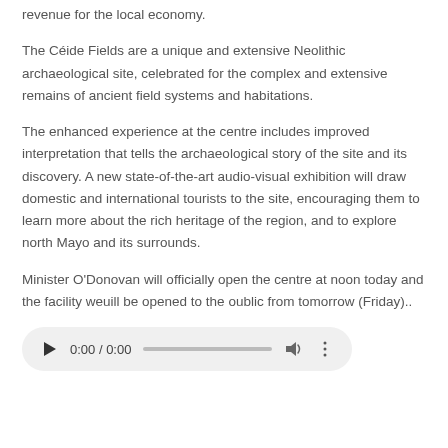revenue for the local economy.
The Céide Fields are a unique and extensive Neolithic archaeological site, celebrated for the complex and extensive remains of ancient field systems and habitations.
The enhanced experience at the centre includes improved interpretation that tells the archaeological story of the site and its discovery. A new state-of-the-art audio-visual exhibition will draw domestic and international tourists to the site, encouraging them to learn more about the rich heritage of the region, and to explore north Mayo and its surrounds.
Minister O'Donovan will officially open the centre at noon today and the facility weuill be opened to the oublic from tomorrow (Friday)..
[Figure (other): Audio player widget showing play button, time display 0:00 / 0:00, progress bar, volume icon, and more options icon]